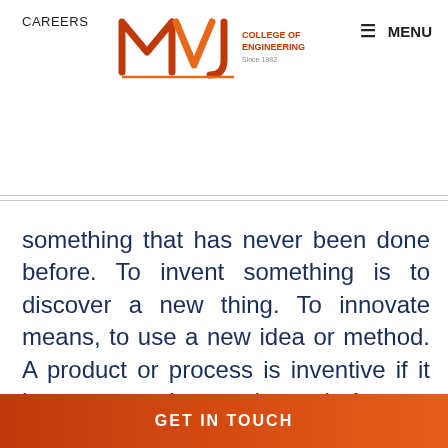CAREERS
[Figure (logo): MVJ College of Engineering - An Autonomous Institute logo with red/orange M, V, J letters]
something that has never been done before. To invent something is to discover a new thing. To innovate means, to use a new idea or method. A product or process is inventive if it has never been done before – whether it is innovative depends on whether users will get a real value out of it. Everyone can innovate. Innovation generally refers to renewing, changing or creating more effective processes, products or ways of doing things.
GET IN TOUCH